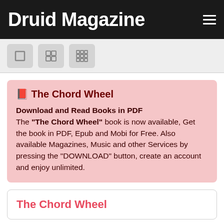Druid Magazine
[Figure (screenshot): Toolbar with three view-mode icon buttons (single, grid 2x2, grid 3x3) on a light gray background]
📕 The Chord Wheel
Download and Read Books in PDF
The "The Chord Wheel" book is now available, Get the book in PDF, Epub and Mobi for Free. Also available Magazines, Music and other Services by pressing the "DOWNLOAD" button, create an account and enjoy unlimited.
The Chord Wheel